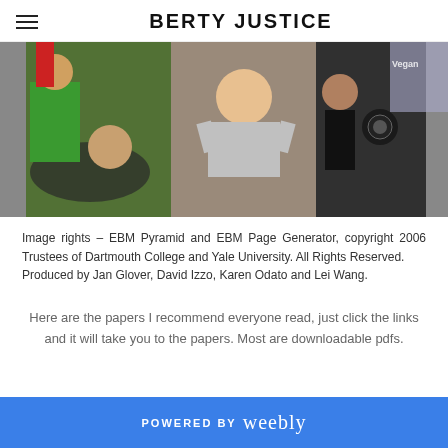BERTY JUSTICE
[Figure (photo): Collage of group photos showing people at an event, including someone holding a t-shirt and people standing in front of a Vegan sign]
Image rights – EBM Pyramid and EBM Page Generator, copyright 2006 Trustees of Dartmouth College and Yale University. All Rights Reserved.
Produced by Jan Glover, David Izzo, Karen Odato and Lei Wang.
Here are the papers I recommend everyone read, just click the links and it will take you to the papers. Most are downloadable pdfs.
POWERED BY weebly